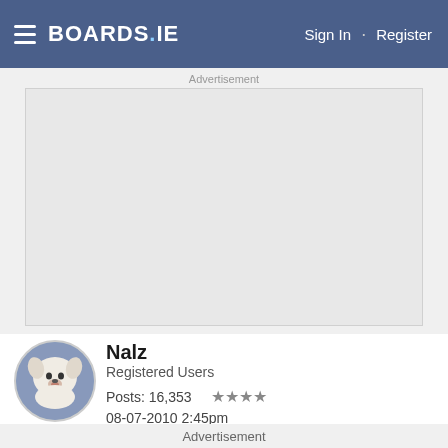BOARDS.IE  Sign In · Register
Advertisement
[Figure (other): Large advertisement placeholder area with light gray background]
[Figure (photo): Circular avatar of a white dog (Samoyed or similar breed) used as user profile photo]
Nalz
Registered Users
Posts: 16,353    ★★★★
08-07-2010 2:45pm
Advertisement